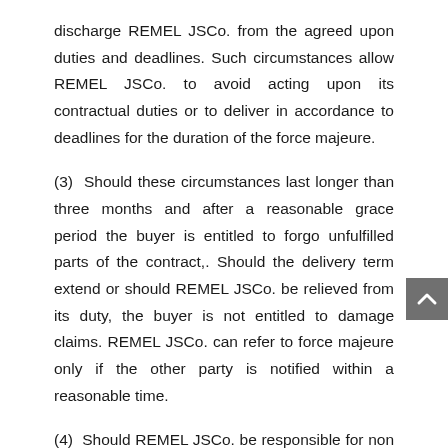discharge REMEL JSCo. from the agreed upon duties and deadlines. Such circumstances allow REMEL JSCo. to avoid acting upon its contractual duties or to deliver in accordance to deadlines for the duration of the force majeure.
(3) Should these circumstances last longer than three months and after a reasonable grace period the buyer is entitled to forgo unfulfilled parts of the contract,. Should the delivery term extend or should REMEL JSCo. be relieved from its duty, the buyer is not entitled to damage claims. REMEL JSCo. can refer to force majeure only if the other party is notified within a reasonable time.
(4) Should REMEL JSCo. be responsible for non compliance with the agreed upon deadlines or is delaying deliveries, the buyer is entitled to indemnification due to delay in the amount of 0.5% per week overdue on the amount of the delayed goods or services, up to 5% of their